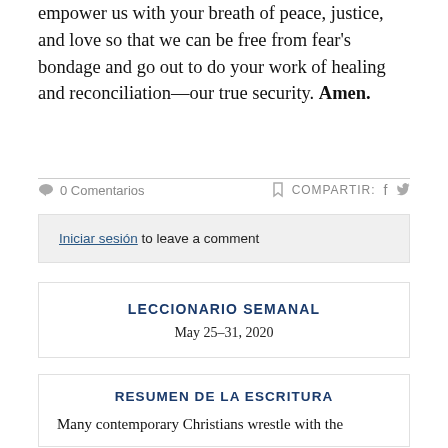empower us with your breath of peace, justice, and love so that we can be free from fear's bondage and go out to do your work of healing and reconciliation—our true security. Amen.
0 Comentarios
COMPARTIR: f 🐦
Iniciar sesión to leave a comment
LECCIONARIO SEMANAL
May 25–31, 2020
RESUMEN DE LA ESCRITURA
Many contemporary Christians wrestle with the